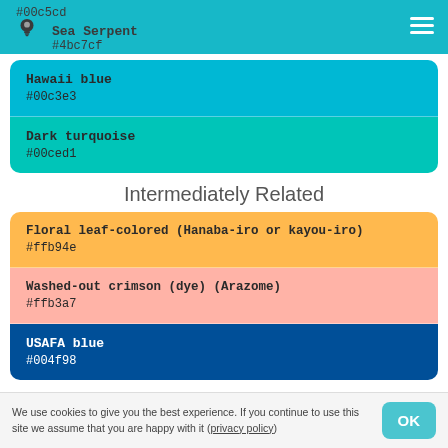#00c5cd Sea Serpent #4bc7cf
Hawaii blue
#00c3e3
Dark turquoise
#00ced1
Intermediately Related
Floral leaf-colored (Hanaba-iro or kayou-iro)
#ffb94e
Washed-out crimson (dye) (Arazome)
#ffb3a7
USAFA blue
#004f98
We use cookies to give you the best experience. If you continue to use this site we assume that you are happy with it (privacy policy)